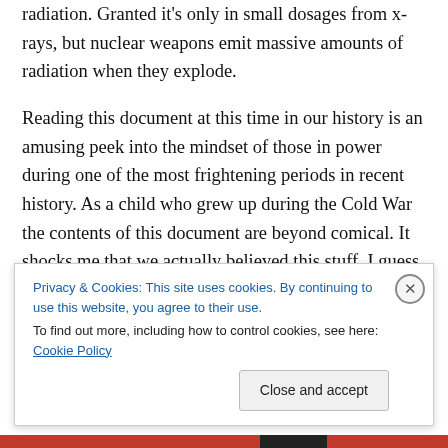radiation. Granted it's only in small dosages from x-rays, but nuclear weapons emit massive amounts of radiation when they explode.
Reading this document at this time in our history is an amusing peek into the mindset of those in power during one of the most frightening periods in recent history. As a child who grew up during the Cold War the contents of this document are beyond comical. It shocks me that we actually believed this stuff. I guess it reassured us that we shouldn't have been scared. Hell no in reality most of us were scared shit-less!
Privacy & Cookies: This site uses cookies. By continuing to use this website, you agree to their use.
To find out more, including how to control cookies, see here: Cookie Policy